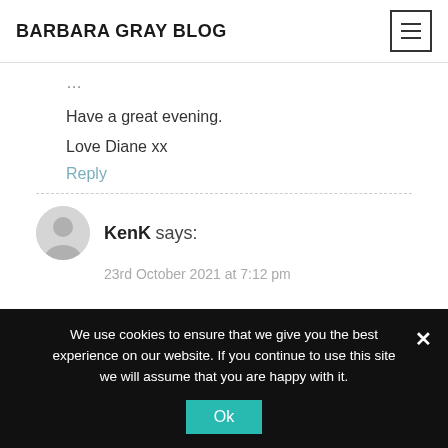BARBARA GRAY BLOG
Have a great evening.
Love Diane xx
Reply
KenK says:
23rd October 2021 at 7:12 pm
We use cookies to ensure that we give you the best experience on our website. If you continue to use this site we will assume that you are happy with it.